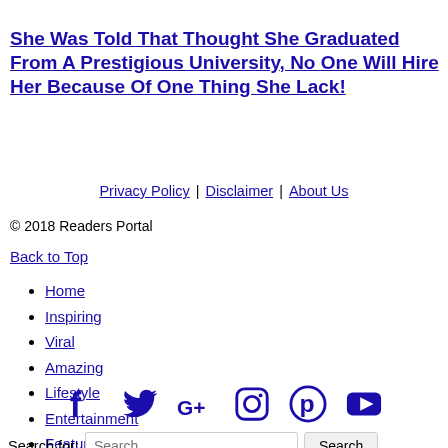She Was Told That Thought She Graduated From A Prestigious University, No One Will Hire Her Because Of One Thing She Lack!
Privacy Policy | Disclaimer | About Us
© 2018 Readers Portal
Back to Top
Home
Inspiring
Viral
Amazing
Lifestyle
Entertainment
Featured
[Figure (infographic): Social media icons: Facebook, Twitter, Google+, Instagram, Pinterest, YouTube]
Search for: Search ...  Search